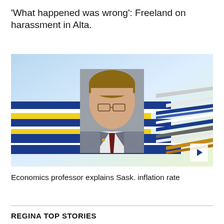'What happened was wrong': Freeland on harassment in Alta.
[Figure (photo): Video thumbnail showing a man in a grey suit and burgundy tie with glasses, overlaid on a colorful diagonal striped background in blue, yellow, white, and gold. A play button is visible in the bottom right corner.]
Economics professor explains Sask. inflation rate
REGINA TOP STORIES